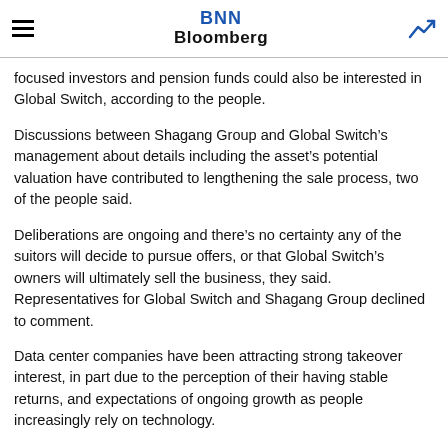BNN Bloomberg
focused investors and pension funds could also be interested in Global Switch, according to the people.
Discussions between Shagang Group and Global Switch’s management about details including the asset’s potential valuation have contributed to lengthening the sale process, two of the people said.
Deliberations are ongoing and there’s no certainty any of the suitors will decide to pursue offers, or that Global Switch’s owners will ultimately sell the business, they said. Representatives for Global Switch and Shagang Group declined to comment.
Data center companies have been attracting strong takeover interest, in part due to the perception of their having stable returns, and expectations of ongoing growth as people increasingly rely on technology.
Founded in 1998, Global Switch owns and operates 13 data centers in Europe and Asia Pacific spanning about 428,000 square meters, according to its website. It reported 251.4